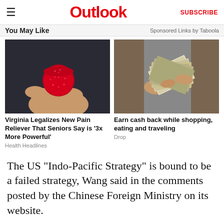Outlook | SUBSCRIBE
You May Like · Sponsored Links by Taboola
[Figure (photo): Close-up of a hand holding a red sugar-coated gummy candy]
[Figure (photo): Person holding a fan of US dollar bills]
Virginia Legalizes New Pain Reliever That Seniors Say is '3x More Powerful'
Health Headlines
Earn cash back while shopping, eating and traveling
Drop
The US "Indo-Pacific Strategy" is bound to be a failed strategy, Wang said in the comments posted by the Chinese Foreign Ministry on its website.